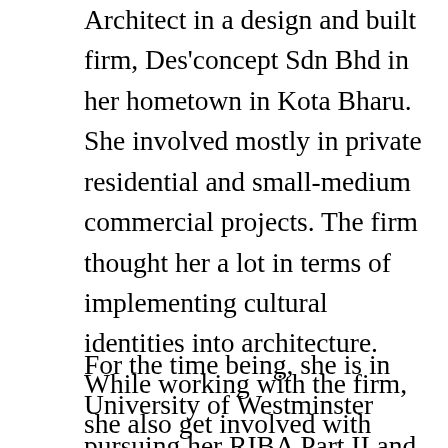Architect in a design and built firm, Des'concept Sdn Bhd in her hometown in Kota Bharu. She involved mostly in private residential and small-medium commercial projects. The firm thought her a lot in terms of implementing cultural identities into architecture. While working with the firm, she also get involved with urban design and architecture academic workshops held by the university she used to attend .She always believes in the fusion of culture, technology and architecture, as it gives more depths and enriches the characters in design. She always driven by her passion in architecture, art, graphic design and photography.
For the time being, she is in University of Westminster pursuing her RIBA Part II and is a part of Design Studio 10, where she is exposed more into analogue